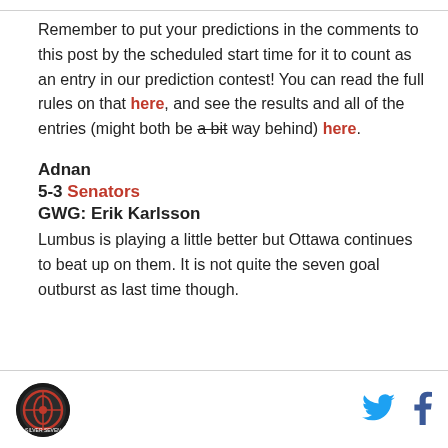Remember to put your predictions in the comments to this post by the scheduled start time for it to count as an entry in our prediction contest! You can read the full rules on that here, and see the results and all of the entries (might both be a bit way behind) here.
Adnan
5-3 Senators
GWG: Erik Karlsson
Lumbus is playing a little better but Ottawa continues to beat up on them. It is not quite the seven goal outburst as last time though.
[logo] [twitter] [facebook]